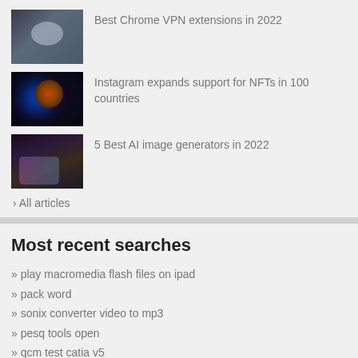[Figure (photo): Thumbnail image for Best Chrome VPN extensions article, showing hands with globe]
Best Chrome VPN extensions in 2022
[Figure (photo): Thumbnail image for Instagram NFTs article, showing glowing orb]
Instagram expands support for NFTs in 100 countries
[Figure (photo): Thumbnail image for AI image generators article, showing robotic hand]
5 Best AI image generators in 2022
› All articles
Most recent searches
» play macromedia flash files on ipad
» pack word
» sonix converter video to mp3
» pesq tools open
» qcm test catia v5
» softwear for digital album